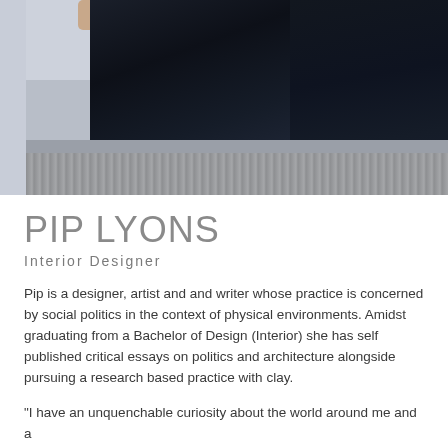[Figure (photo): Person wearing a long dark navy/black crinkled linen dress or garment, standing in a room with light grey walls and a pebble or textured stone floor. Only the lower body and part of an arm are visible.]
PIP LYONS
Interior Designer
Pip is a designer, artist and and writer whose practice is concerned by social politics in the context of physical environments. Amidst graduating from a Bachelor of Design (Interior) she has self published critical essays on politics and architecture alongside pursuing a research based practice with clay.
“I have an unquenchable curiosity about the world around me and a